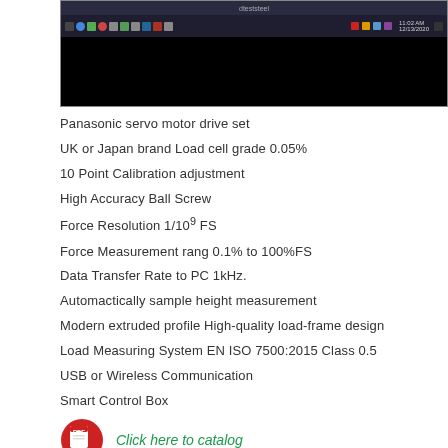[Figure (screenshot): Screenshot of a Windows taskbar and black application window]
Panasonic servo motor drive set
UK or Japan brand Load cell grade 0.05%
10 Point Calibration adjustment
High Accuracy Ball Screw
Force Resolution 1/10⁹ FS
Force Measurement rang 0.1% to 100%FS
Data Transfer Rate to PC 1kHz.
Automactically sample height measurement
Modern extruded profile High-quality load-frame design
Load Measuring System EN ISO 7500:2015 Class 0.5
USB or Wireless Communication
Smart Control Box
[Figure (logo): Red PDF icon with download arrow]
Click here to catalog
[Figure (logo): Red PDF icon with download arrow]
Click here to grip and fixtures